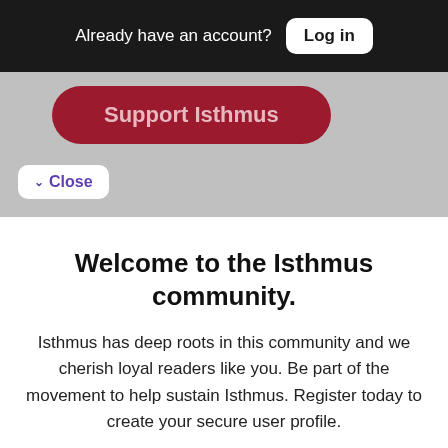Already have an account? Log in
Support Isthmus
Close
Welcome to the Isthmus community.
Isthmus has deep roots in this community and we cherish loyal readers like you. Be part of the movement to help sustain Isthmus. Register today to create your secure user profile.
Enter your email
name@domain.com